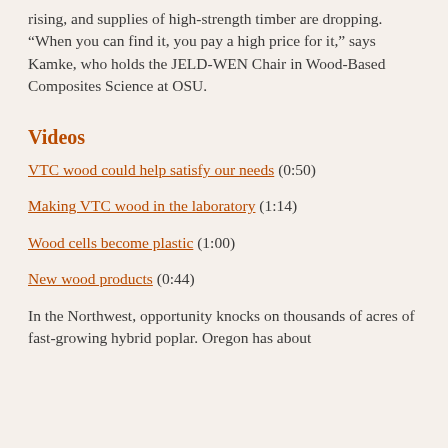rising, and supplies of high-strength timber are dropping. “When you can find it, you pay a high price for it,” says Kamke, who holds the JELD-WEN Chair in Wood-Based Composites Science at OSU.
Videos
VTC wood could help satisfy our needs (0:50)
Making VTC wood in the laboratory (1:14)
Wood cells become plastic (1:00)
New wood products (0:44)
In the Northwest, opportunity knocks on thousands of acres of fast-growing hybrid poplar. Oregon has about